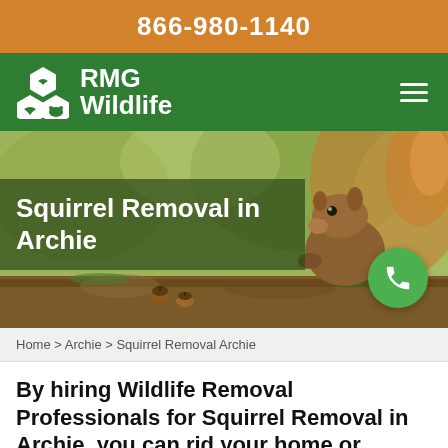866-980-1140
[Figure (logo): RMG Wildlife logo with hexagon icons and company name in white on green background, with hamburger menu icon]
[Figure (photo): Hero image of a squirrel on a log with acorns in a natural outdoor setting with blurred green background. Overlay text: Squirrel Removal in Archie. Green phone button circle.]
Home > Archie > Squirrel Removal Archie
By hiring Wildlife Removal Professionals for Squirrel Removal in Archie, you can rid your home or